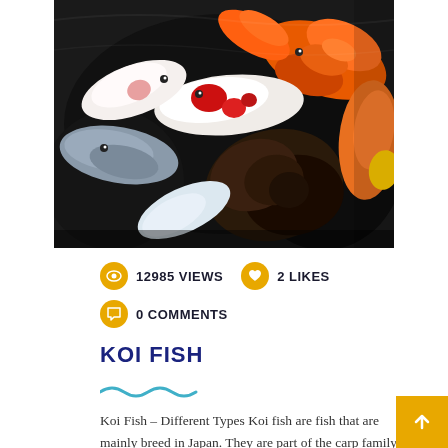[Figure (photo): Colorful koi fish swimming in dark water, viewed from above. Multiple varieties visible including white, red-spotted, orange, and black koi.]
12985 VIEWS   2 LIKES   0 COMMENTS
KOI FISH
Koi Fish – Different Types Koi fish are fish that are mainly breed in Japan. They are part of the carp family but due to decades of breeding by the Japanese, they have mainly